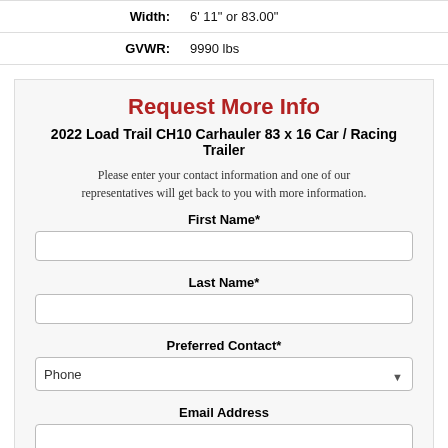| Label | Value |
| --- | --- |
| Width: | 6' 11" or 83.00" |
| GVWR: | 9990 lbs |
Request More Info
2022 Load Trail CH10 Carhauler 83 x 16 Car / Racing Trailer
Please enter your contact information and one of our representatives will get back to you with more information.
First Name*
Last Name*
Preferred Contact*
Email Address